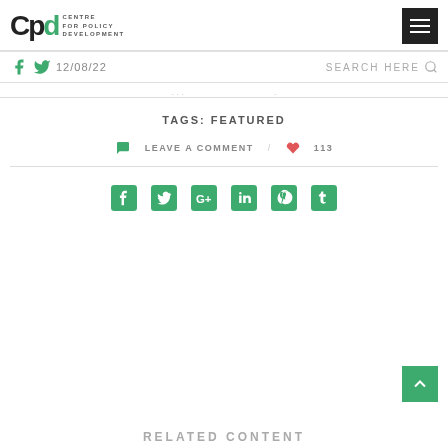CPD Centre for Policy Development
12/08/22   SEARCH HERE
TAGS: FEATURED
LEAVE A COMMENT  /  113
[Figure (other): Social share icons: Facebook, Twitter, Google+, LinkedIn, Pinterest, Tumblr]
[Figure (other): Back to top button with upward arrow]
RELATED CONTENT